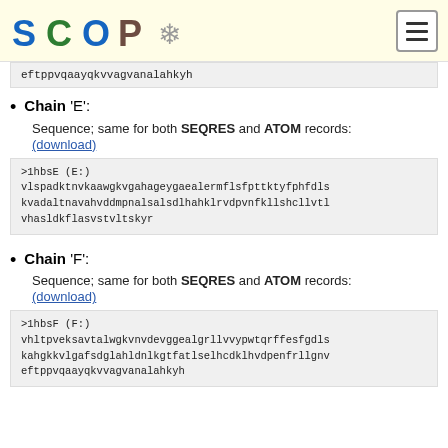SCOP
eftppvqaayqkvvagvanalahkyh
Chain 'E': Sequence; same for both SEQRES and ATOM records: (download)
>1hbsE (E:)
vlspadktnvkaawgkvgahageygaealermflsfpttktyfphfdls
kvadaltnavahvddmpnalsalsdlhahklrvdpvnfkllshcllvtl
vhasldkflasvstvltskyr
Chain 'F': Sequence; same for both SEQRES and ATOM records: (download)
>1hbsF (F:)
vhltpveksavtalwgkvnvdevggealgrllvvypwtqrffesfgdls
kahgkkvlgafsdglahldnlkgtfatlselhcdklhvdpenfrllgnv
eftppvqaayqkvvagvanalahkyh